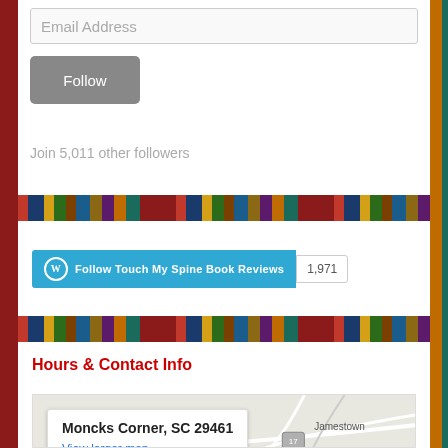Email Address
Follow
Join 5,011 other followers
[Figure (screenshot): WordPress Follow Touch My Spine Book Reviews button with follower count 1,971]
Hours & Contact Info
[Figure (map): Google map showing Moncks Corner, SC 29461 area with Jamestown visible, with popup showing address and View larger map link]